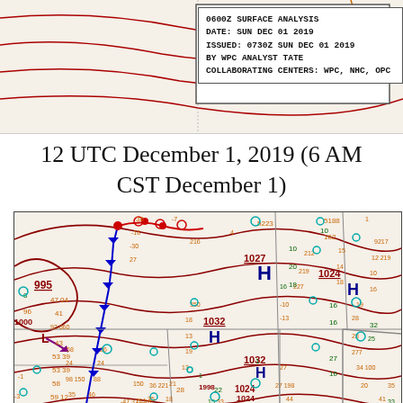[Figure (map): Top portion of a 0600Z surface analysis weather map for SUN DEC 01 2019, showing pressure isobars, weather fronts, and meteorological data for North America]
0600Z SURFACE ANALYSIS
DATE: SUN DEC 01 2019
ISSUED: 0730Z SUN DEC 01 2019
BY WPC ANALYST TATE
COLLABORATING CENTERS: WPC, NHC, OPC
12 UTC December 1, 2019 (6 AM CST December 1)
[Figure (map): 12 UTC December 1, 2019 surface analysis weather map showing isobars (995, 1000, 1024, 1027, 1032), High pressure centers (H) labeled at 1024, 1027, 1032, Low pressure center (L), cold fronts (blue lines with triangles), warm fronts (red lines with semicircles), station data with temperature, dew point, wind, and pressure readings across North America]